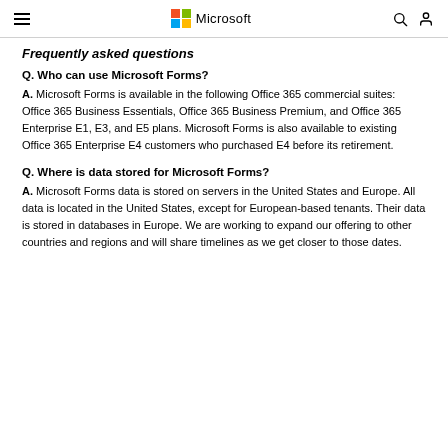Microsoft
Frequently asked questions
Q. Who can use Microsoft Forms?
A. Microsoft Forms is available in the following Office 365 commercial suites: Office 365 Business Essentials, Office 365 Business Premium, and Office 365 Enterprise E1, E3, and E5 plans. Microsoft Forms is also available to existing Office 365 Enterprise E4 customers who purchased E4 before its retirement.
Q. Where is data stored for Microsoft Forms?
A. Microsoft Forms data is stored on servers in the United States and Europe. All data is located in the United States, except for European-based tenants. Their data is stored in databases in Europe. We are working to expand our offering to other countries and regions and will share timelines as we get closer to those dates.